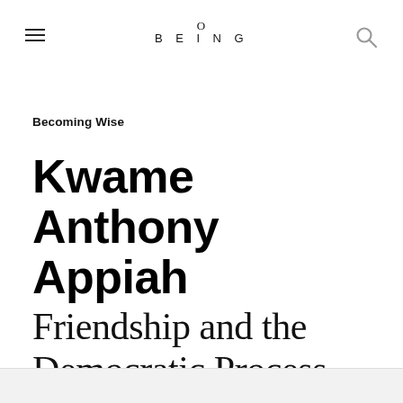O BEING
Becoming Wise
Kwame Anthony Appiah Friendship and the Democratic Process